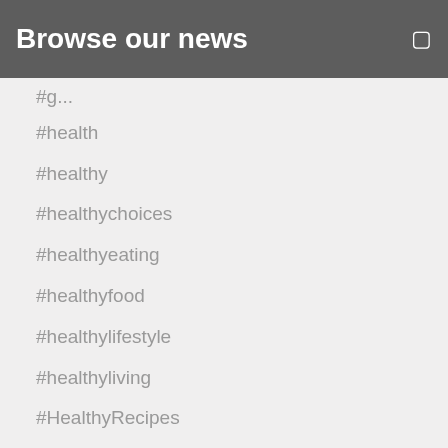Browse our news
#health
#healthy
#healthychoices
#healthyeating
#healthyfood
#healthylifestyle
#healthyliving
#HealthyRecipes
#highprotein
#iifym
#instafit
#instafit